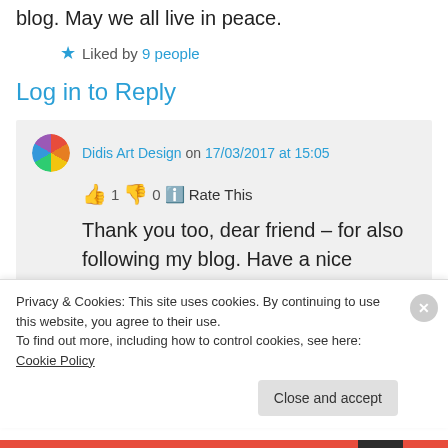blog. May we all live in peace.
Liked by 9 people
Log in to Reply
Didis Art Design on 17/03/2017 at 15:05
1  0  Rate This
Thank you too, dear friend – for also following my blog. Have a nice weekend and may God bless us all with right
Privacy & Cookies: This site uses cookies. By continuing to use this website, you agree to their use.
To find out more, including how to control cookies, see here: Cookie Policy
Close and accept